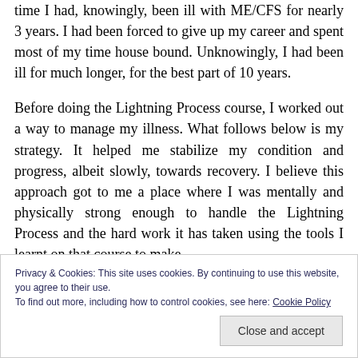time I had, knowingly, been ill with ME/CFS for nearly 3 years. I had been forced to give up my career and spent most of my time house bound. Unknowingly, I had been ill for much longer, for the best part of 10 years.
Before doing the Lightning Process course, I worked out a way to manage my illness. What follows below is my strategy. It helped me stabilize my condition and progress, albeit slowly, towards recovery. I believe this approach got to me a place where I was mentally and physically strong enough to handle the Lightning Process and the hard work it has taken using the tools I learnt on that course to make
Privacy & Cookies: This site uses cookies. By continuing to use this website, you agree to their use.
To find out more, including how to control cookies, see here: Cookie Policy